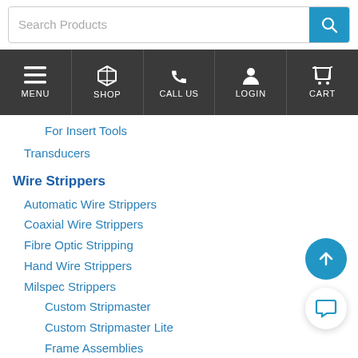Search Products [search bar with magnifying glass button]
MENU | SHOP | CALL US | LOGIN | CART
For Insert Tools
Transducers
Wire Strippers
Automatic Wire Strippers
Coaxial Wire Strippers
Fibre Optic Stripping
Hand Wire Strippers
Milspec Strippers
Custom Stripmaster
Custom Stripmaster Lite
Frame Assemblies
Spares
Non-round Wire Strippers
Outer Sheath Removal
Stripping Tweezer